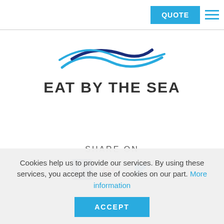QUOTE [menu button]
[Figure (logo): Eat By The Sea logo: stylized wave lines in blue and dark navy above the brand name]
EAT BY THE SEA
SHARE ON
[Figure (illustration): Social media icons: Facebook (f), Google Plus (G+), Twitter (bird) in blue]
Cookies help us to provide our services. By using these services, you accept the use of cookies on our part. More information
ACCEPT